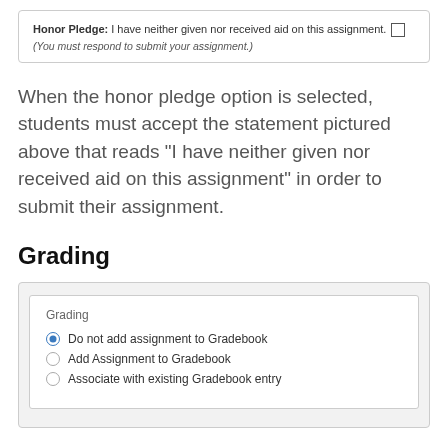[Figure (screenshot): Honor Pledge UI box with checkbox: 'Honor Pledge: I have neither given nor received aid on this assignment. (You must respond to submit your assignment.)']
When the honor pledge option is selected, students must accept the statement pictured above that reads "I have neither given nor received aid on this assignment" in order to submit their assignment.
Grading
[Figure (screenshot): Grading UI panel with radio options: 'Do not add assignment to Gradebook' (selected), 'Add Assignment to Gradebook', 'Associate with existing Gradebook entry']